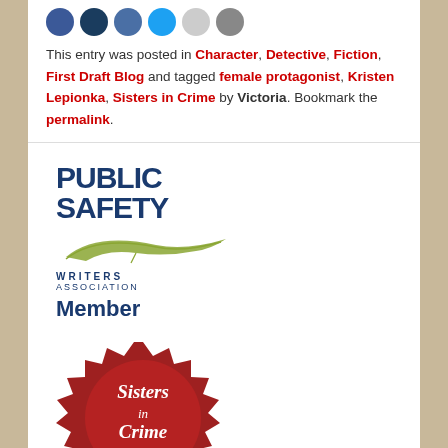[Figure (illustration): Row of social media share icon circles: blue, dark blue, medium blue, light blue, gray, dark gray]
This entry was posted in Character, Detective, Fiction, First Draft Blog and tagged female protagonist, Kristen Lepionka, Sisters in Crime by Victoria. Bookmark the permalink.
[Figure (logo): Public Safety Writers Association Member logo — blue bold text 'PUBLIC SAFETY', olive green feather illustration, 'WRITERS ASSOCIATION' in small caps, 'Member' in bold blue]
[Figure (logo): Sisters in Crime 2022 badge — dark red starburst seal with white cursive text 'Sisters in Crime' and yellow banner reading '2022']